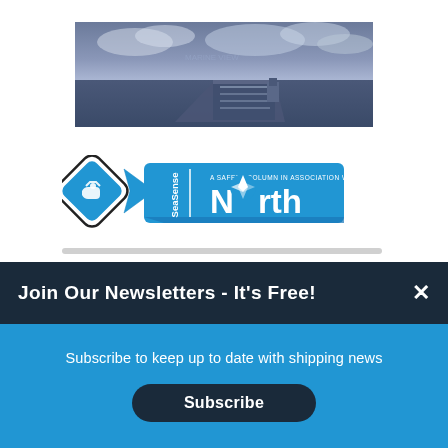[Figure (photo): Aerial view of a large cargo/tanker ship on dark ocean water with cloudy sky, toned in blue-grey]
[Figure (logo): SeaSense safety column logo in association with North - blue diamond shape with handshake icon, arrow banner with SeaSense text, blue rounded rectangle with North text and compass rose logo]
Join Our Newsletters - It's Free!
Subscribe to keep up to date with shipping news
Subscribe